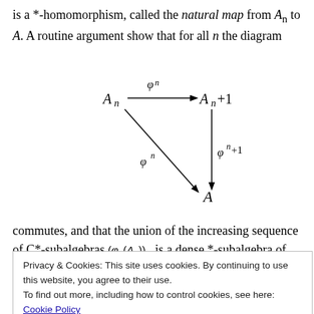is a *-homomorphism, called the natural map from A_n to A. A routine argument show that for all n the diagram
[Figure (other): Commutative diagram with nodes A_n, A_{n+1}, A and arrows: phi_n from A_n to A_{n+1} (horizontal), phi^n from A_n to A (diagonal), phi^{n+1} from A_{n+1} to A (vertical)]
commutes, and that the union of the increasing sequence of C*-subalgebras (phi_n(A_n)) is a dense *-subalgebra of
Privacy & Cookies: This site uses cookies. By continuing to use this website, you agree to their use.
To find out more, including how to control cookies, see here: Cookie Policy
Close and accept